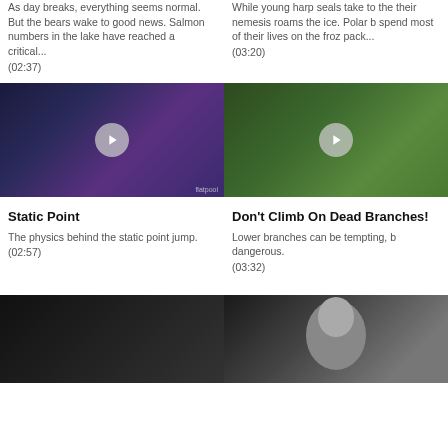As day breaks, everything seems normal. But the bears wake to good news. Salmon numbers in the lake have reached a critical... (02:37)
While young harp seals take to the their nemesis roams the ice. Polar spend most of their lives on the fro pack... (03:20)
[Figure (photo): Video thumbnail showing indoor gym/parkour space with purple lighting, person visible, play button overlay]
[Figure (photo): Video thumbnail showing forest/woodland scene with trees, person visible, play button overlay]
Static Point
The physics behind the static point jump. (02:57)
Don't Climb On Dead Branches!
Lower branches can be tempting, b dangerous. (03:32)
[Figure (photo): Video thumbnail showing dark/black close-up image, partially visible]
[Figure (photo): Video thumbnail showing older man with grey hair, partially visible]